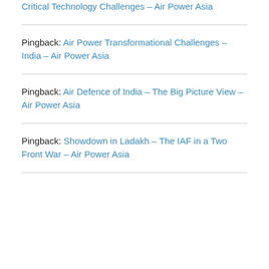Critical Technology Challenges – Air Power Asia
Pingback: Air Power Transformational Challenges – India – Air Power Asia
Pingback: Air Defence of India – The Big Picture View – Air Power Asia
Pingback: Showdown in Ladakh – The IAF in a Two Front War – Air Power Asia